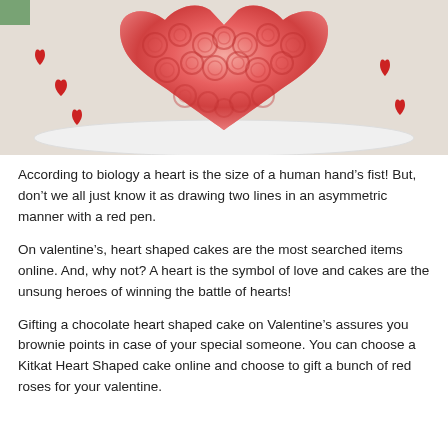[Figure (photo): A heart-shaped cake decorated with pink/red rose-patterned frosting, sitting on a white plate, surrounded by small red heart decorations on a white surface]
According to biology a heart is the size of a human hand’s fist! But, don’t we all just know it as drawing two lines in an asymmetric manner with a red pen.
On valentine’s, heart shaped cakes are the most searched items online. And, why not? A heart is the symbol of love and cakes are the unsung heroes of winning the battle of hearts!
Gifting a chocolate heart shaped cake on Valentine’s assures you brownie points in case of your special someone. You can choose a Kitkat Heart Shaped cake online and choose to gift a bunch of red roses for your valentine.